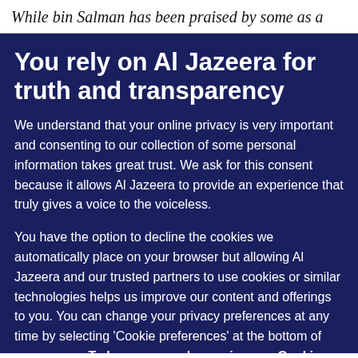While bin Salman has been praised by some as a
You rely on Al Jazeera for truth and transparency
We understand that your online privacy is very important and consenting to our collection of some personal information takes great trust. We ask for this consent because it allows Al Jazeera to provide an experience that truly gives a voice to the voiceless.
You have the option to decline the cookies we automatically place on your browser but allowing Al Jazeera and our trusted partners to use cookies or similar technologies helps us improve our content and offerings to you. You can change your privacy preferences at any time by selecting 'Cookie preferences' at the bottom of your screen. To learn more, please view our Cookie Policy.